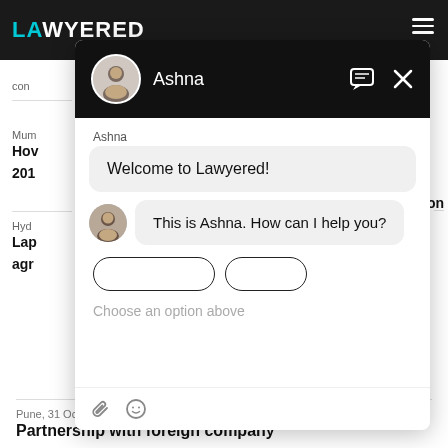[Figure (screenshot): Screenshot of Lawyered website with a chat widget overlay. The website has a dark top navigation bar with 'LAWYERED' logo in cyan/white. A chat popup shows an agent named 'Ashna' with profile picture, greeting messages 'Welcome to Lawyered!' and 'This is Ashna. How can I help you?', option buttons, a text placeholder 'Choose an option above', and footer icons. Behind the chat, partial website content shows city labels (Mumbai, Hyderabad, Pune), article titles about legal topics, and a visible 'Partnership with foreign company' heading at the bottom.]